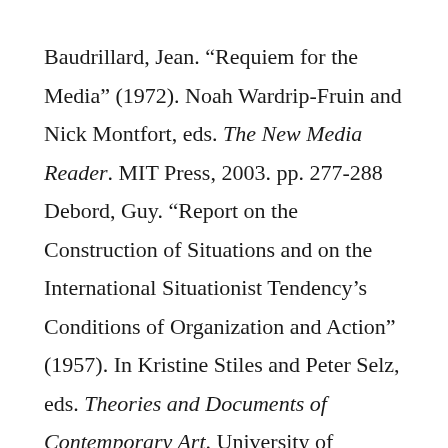Baudrillard, Jean. “Requiem for the Media” (1972). Noah Wardrip-Fruin and Nick Montfort, eds. The New Media Reader. MIT Press, 2003. pp. 277-288 Debord, Guy. “Report on the Construction of Situations and on the International Situationist Tendency’s Conditions of Organization and Action” (1957). In Kristine Stiles and Peter Selz, eds. Theories and Documents of Contemporary Art. University of California Press, 1996
Hansen, Mark. Bodies in Code: Interfaces